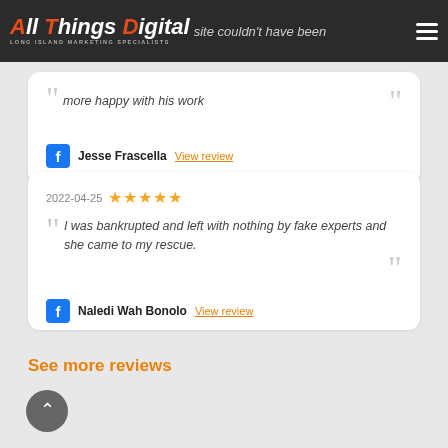All Things Digital — Long Island Marketing Specialists
site couldn't have been more happy with his work
Jesse Frascella View review
2022-04-25 ★★★★★
I was bankrupted and left with nothing by fake experts and she came to my rescue.
Naledi Wah Bonolo View review
See more reviews